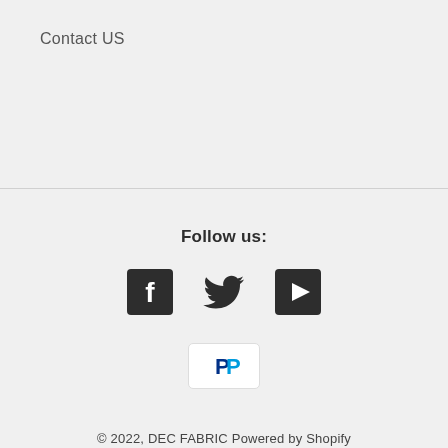Contact US
Follow us:
[Figure (illustration): Social media icons: Facebook, Twitter, YouTube]
[Figure (illustration): PayPal payment badge]
© 2022, DEC FABRIC Powered by Shopify